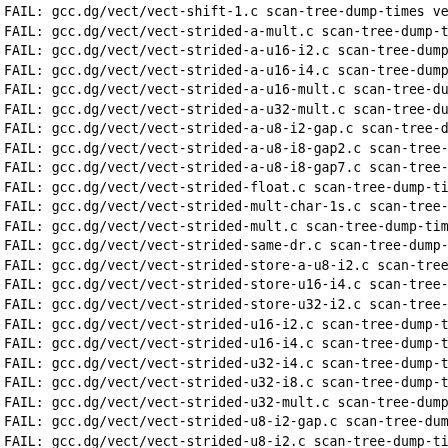FAIL: gcc.dg/vect/vect-shift-1.c scan-tree-dump-times vect
FAIL: gcc.dg/vect/vect-strided-a-mult.c scan-tree-dump-t
FAIL: gcc.dg/vect/vect-strided-a-u16-i2.c scan-tree-dump-
FAIL: gcc.dg/vect/vect-strided-a-u16-i4.c scan-tree-dump-
FAIL: gcc.dg/vect/vect-strided-a-u16-mult.c scan-tree-dun
FAIL: gcc.dg/vect/vect-strided-a-u32-mult.c scan-tree-dun
FAIL: gcc.dg/vect/vect-strided-a-u8-i2-gap.c scan-tree-du
FAIL: gcc.dg/vect/vect-strided-a-u8-i8-gap2.c scan-tree-d
FAIL: gcc.dg/vect/vect-strided-a-u8-i8-gap7.c scan-tree-d
FAIL: gcc.dg/vect/vect-strided-float.c scan-tree-dump-tir
FAIL: gcc.dg/vect/vect-strided-mult-char-1s.c scan-tree-d
FAIL: gcc.dg/vect/vect-strided-mult.c scan-tree-dump-time
FAIL: gcc.dg/vect/vect-strided-same-dr.c scan-tree-dump-t
FAIL: gcc.dg/vect/vect-strided-store-a-u8-i2.c scan-tree-
FAIL: gcc.dg/vect/vect-strided-store-u16-i4.c scan-tree-d
FAIL: gcc.dg/vect/vect-strided-store-u32-i2.c scan-tree-d
FAIL: gcc.dg/vect/vect-strided-u16-i2.c scan-tree-dump-ti
FAIL: gcc.dg/vect/vect-strided-u16-i4.c scan-tree-dump-ti
FAIL: gcc.dg/vect/vect-strided-u32-i4.c scan-tree-dump-ti
FAIL: gcc.dg/vect/vect-strided-u32-i8.c scan-tree-dump-ti
FAIL: gcc.dg/vect/vect-strided-u32-mult.c scan-tree-dump-
FAIL: gcc.dg/vect/vect-strided-u8-i2-gap.c scan-tree-dump
FAIL: gcc.dg/vect/vect-strided-u8-i2.c scan-tree-dump-tir
FAIL: gcc.dg/vect/vect-strided-u8-i8-gap2.c scan-tree-dun
FAIL: gcc.dg/vect/vect-strided-u8-i8-gap4.c scan-tree-dun
FAIL: gcc.dg/vect/vect-strided-u8-i8-gap7.c scan-tree-dun
FAIL: gcc.dg/vect/vect-strided-u8-i8.c scan-tree-dump-tin
FAIL: gcc.dg/vect/vect-vfa-01.c scan-tree-dump-times vect
FAIL: gcc.dg/vect/vect-vfa-02.c scan-tree-dump-times vect
FAIL: gcc.dg/vect/vect-vfa-03.c scan-tree-dump-times vect
FAIL: ...